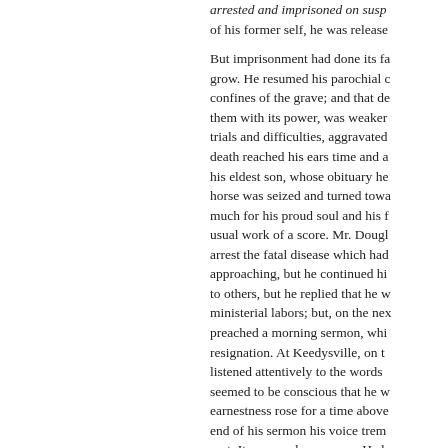arrested and imprisoned on susp of his former self, he was release

But imprisonment had done its fa grow. He resumed his parochial c confines of the grave; and that de them with its power, was weaker trials and difficulties, aggravated death reached his ears time and a his eldest son, whose obituary he horse was seized and turned towa much for his proud soul and his f usual work of a score. Mr. Dougl arrest the fatal disease which had approaching, but he continued hi to others, but he replied that he w ministerial labors; but, on the ne preached a morning sermon, whi resignation. At Keedysville, on t listened attentively to the words seemed to be conscious that he w earnestness rose for a time above end of his sermon his voice trem seat. It was a solemn scene. He h